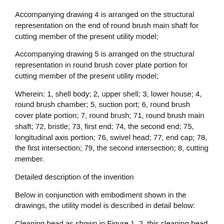Accompanying drawing 4 is arranged on the structural representation on the end of round brush main shaft for cutting member of the present utility model;
Accompanying drawing 5 is arranged on the structural representation in round brush cover plate portion for cutting member of the present utility model;
Wherein: 1, shell body; 2, upper shell; 3, lower house; 4, round brush chamber; 5, suction port; 6, round brush cover plate portion; 7, round brush; 71, round brush main shaft; 72, bristle; 73, first end; 74, the second end; 75, longitudinal axis portion; 76, swivel head; 77, end cap; 78, the first intersection; 79, the second intersection; 8, cutting member.
Detailed description of the invention
Below in conjunction with embodiment shown in the drawings, the utility model is described in detail below:
Cleaning head as shown in Figure 1, 2, this cleaning head is used on vacuum cleaner, and cleaning head can move on the ground, thereby the dirt on ground is picked up.This